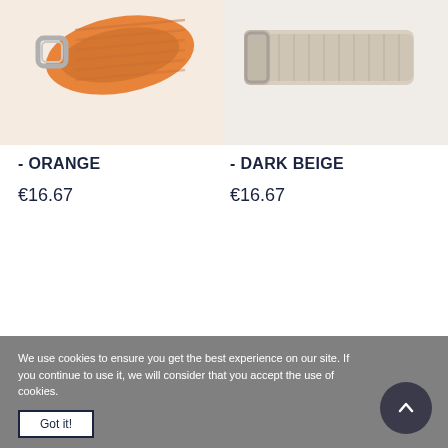[Figure (photo): Orange woven/leather belt with silver buckle, cropped product photo on light background]
[Figure (photo): Dark beige/cream woven/braided belt with silver buckle, cropped product photo on light background]
- ORANGE
€16.67
- DARK BEIGE
€16.67
We use cookies to ensure you get the best experience on our site. If you continue to use it, we will consider that you accept the use of cookies.
Got it!